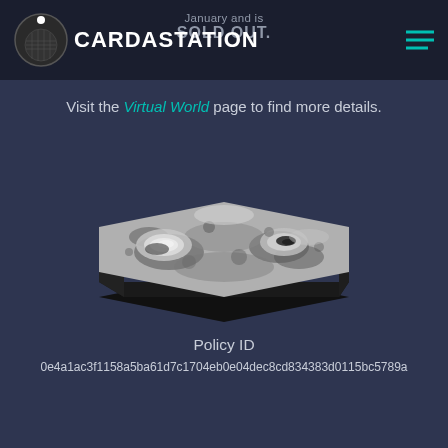CARDASTATION — January and is SOLD OUT.
Visit the Virtual World page to find more details.
[Figure (illustration): 3D rendered terrain/lunar surface with craters, shown as a gray-scale isometric block with black underside]
Policy ID
0e4a1ac3f1158a5ba61d7c1704eb0e04dec8cd834383d0115bc5789a